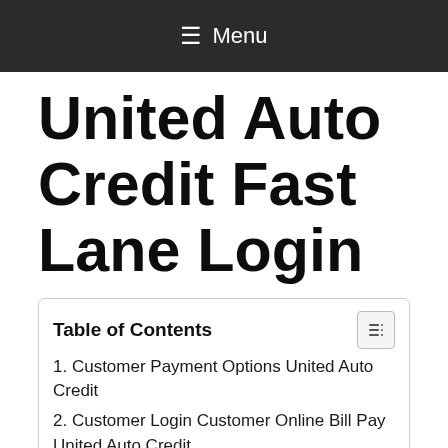≡ Menu
United Auto Credit Fast Lane Login
| Table of Contents |
| --- |
| 1. Customer Payment Options United Auto Credit |
| 2. Customer Login Customer Online Bill Pay United Auto Credit |
| 3. United Auto Credit The Fast Lane Login |